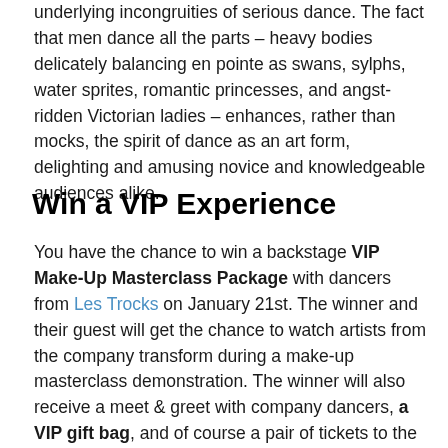underlying incongruities of serious dance. The fact that men dance all the parts – heavy bodies delicately balancing en pointe as swans, sylphs, water sprites, romantic princesses, and angst-ridden Victorian ladies – enhances, rather than mocks, the spirit of dance as an art form, delighting and amusing novice and knowledgeable audiences alike.
Win a VIP Experience
You have the chance to win a backstage VIP Make-Up Masterclass Package with dancers from Les Trocks on January 21st. The winner and their guest will get the chance to watch artists from the company transform during a make-up masterclass demonstration. The winner will also receive a meet & greet with company dancers, a VIP gift bag, and of course a pair of tickets to the performance on January 21st.